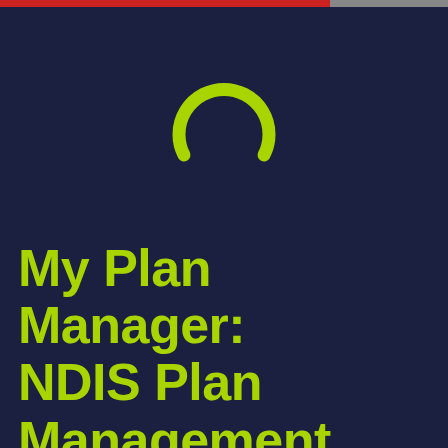[Figure (logo): My Plan Manager logo: a green arc/semicircle shape on dark navy background]
My Plan Manager: NDIS Plan Management